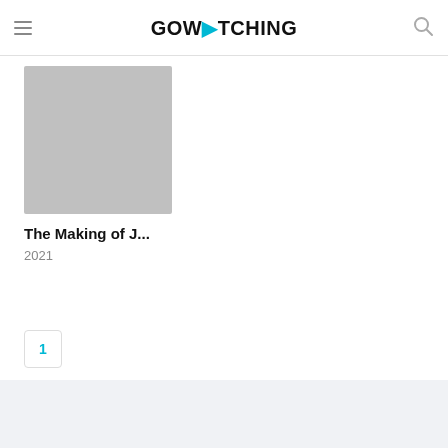GOWATCHING
[Figure (photo): Gray placeholder image thumbnail for a movie/show card]
The Making of J...
2021
1